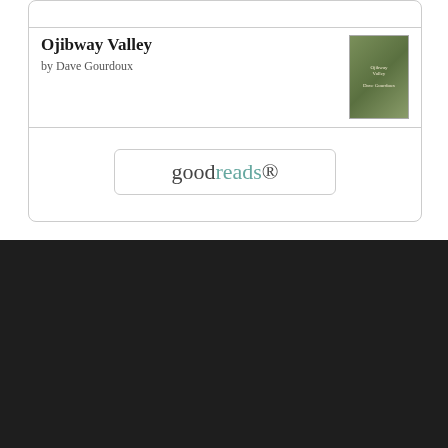[Figure (screenshot): Goodreads widget showing book 'Ojibway Valley' by Dave Gourdoux with book cover thumbnail and Goodreads button]
Ojibway Valley
by Dave Gourdoux
September 2011
| S | M | T | W | T | F | S |
| --- | --- | --- | --- | --- | --- | --- |
|  |  |  |  | 1 | 2 | 3 |
| 4 | 5 | 6 | 7 | 8 | 9 | 10 |
| 11 | 12 | 13 | 14 | 15 | 16 | 17 |